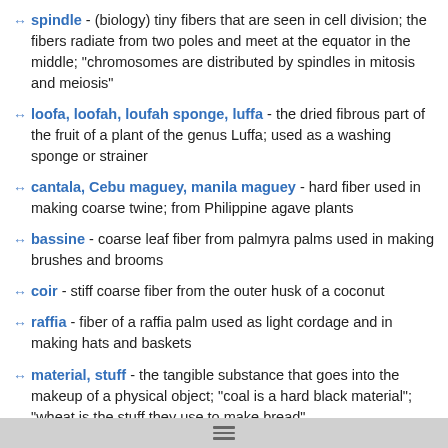spindle - (biology) tiny fibers that are seen in cell division; the fibers radiate from two poles and meet at the equator in the middle; "chromosomes are distributed by spindles in mitosis and meiosis"
loofa, loofah, loufah sponge, luffa - the dried fibrous part of the fruit of a plant of the genus Luffa; used as a washing sponge or strainer
cantala, Cebu maguey, manila maguey - hard fiber used in making coarse twine; from Philippine agave plants
bassine - coarse leaf fiber from palmyra palms used in making brushes and brooms
coir - stiff coarse fiber from the outer husk of a coconut
raffia - fiber of a raffia palm used as light cordage and in making hats and baskets
material, stuff - the tangible substance that goes into the makeup of a physical object; "coal is a hard black material"; "wheat is the stuff they use to make bread"